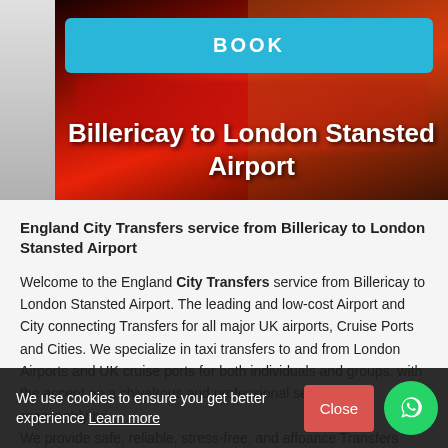[Figure (photo): Hero banner image showing a blurred red London bus in motion, dark background, with 'Billericay to London Stansted Airport' title overlay and a BOOK button at the top]
Billericay to London Stansted Airport
England City Transfers service from Billericay to London Stansted Airport
Welcome to the England City Transfers service from Billericay to London Stansted Airport. The leading and low-cost Airport and City connecting Transfers for all major UK airports, Cruise Ports and Cities. We specialize in taxi transfers to and from London Airports and UK cruise ports for both individuals and groups, with the accent on a chivalrous and professional service at a reasonably pri... We provide safe, reliable, stress-free, and affo... ance Transfers service Billericay to London Stansted Airport, seaports
We use cookies to ensure you get better experience Learn more